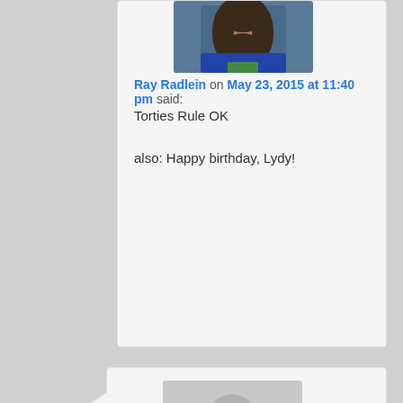[Figure (photo): Avatar photo of Ray Radlein, showing a person with long hair]
Ray Radlein on May 23, 2015 at 11:40 pm said:
Torties Rule OK

also: Happy birthday, Lydy!
[Figure (illustration): Generic gray avatar silhouette placeholder for Leslie C]
Leslie C on May 24, 2015 at 3:45 am said:
JJ: Misunderstanding of color terms, rather than inability to see.
People get confused by classic tabbies, too. The coloring is much more dramatic when you have those big swirls and blotches of black, but it's really the same old tabby color arranged differently.